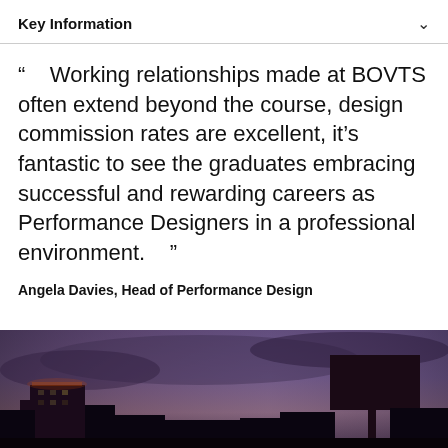Key Information
“” Working relationships made at BOVTS often extend beyond the course, design commission rates are excellent, it’s fantastic to see the graduates embracing successful and rewarding careers as Performance Designers in a professional environment.
Angela Davies, Head of Performance Design
[Figure (photo): Dark outdoor photo showing silhouettes of buildings against a twilight sky with purple and blue tones]